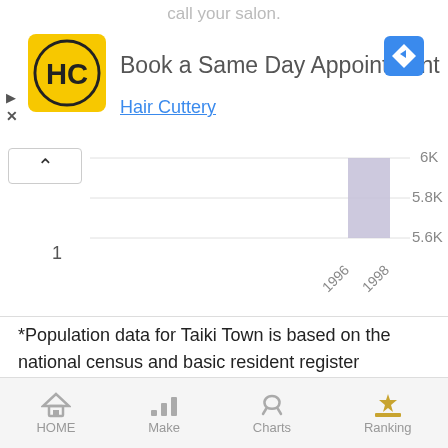[Figure (screenshot): Mobile ad banner for Hair Cuttery: Book a Same Day Appointment]
[Figure (bar-chart): Taiki Town population chart (partial view)]
*Population data for Taiki Town is based on the national census and basic resident register population (total number).
Overall view of the chart (still image))
This is the overall chart of the Taiki Town' Dental clinics graph show
HOME  Make  Charts  Ranking